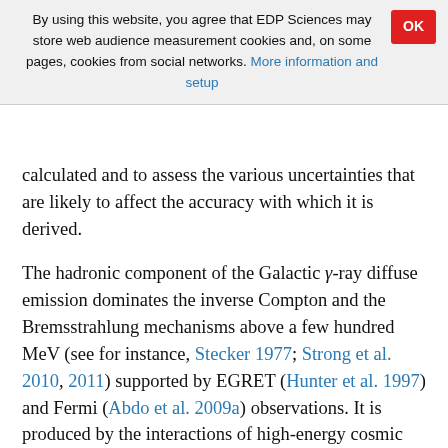By using this website, you agree that EDP Sciences may store web audience measurement cookies and, on some pages, cookies from social networks. More information and setup
calculated and to assess the various uncertainties that are likely to affect the accuracy with which it is derived.
The hadronic component of the Galactic γ-ray diffuse emission dominates the inverse Compton and the Bremsstrahlung mechanisms above a few hundred MeV (see for instance, Stecker 1977; Strong et al. 2010, 2011) supported by EGRET (Hunter et al. 1997) and Fermi (Abdo et al. 2009a) observations. It is produced by the interactions of high-energy cosmic ray protons and helium nuclei impinging on interstellar gas and is, as such, a probe of the distribution of hydrogen within the Galactic plane. It is also extremely sensitive to the distribution of cosmic rays in and on the line of